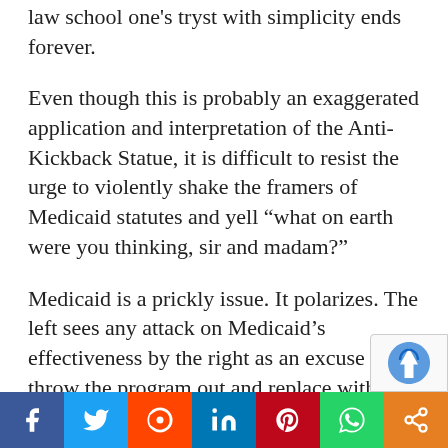law school one's tryst with simplicity ends forever.
Even though this is probably an exaggerated application and interpretation of the Anti-Kickback Statue, it is difficult to resist the urge to violently shake the framers of Medicaid statutes and yell “what on earth were you thinking, sir and madam?”
Medicaid is a prickly issue. It polarizes. The left sees any attack on Medicaid’s effectiveness by the right as an excuse to throw the program out and replace with nothing. This is plainly shooting the messenger, sometimes. The Pavlovian reaction is understandable as some on the right see in Medicaid scientific vindication of their anti-welfare stance.
But if an individual loses 30 pounds despite a
[Figure (infographic): Social media share bar with buttons: Facebook (blue), Twitter (light blue), Reddit (orange-red), LinkedIn (dark blue), Pinterest (red), WhatsApp (green), Share (orange)]